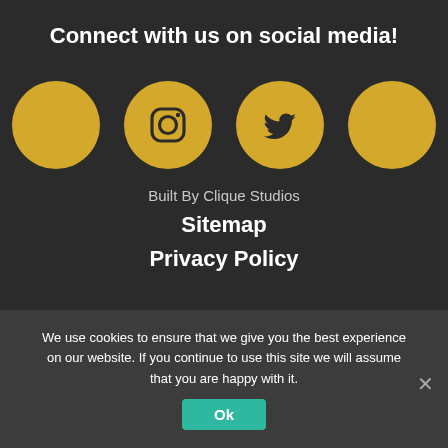Connect with us on social media!
[Figure (illustration): Four golden circular social media icon buttons in a row: Facebook (plain circle), Instagram, Twitter bird, and another plain circle]
Built By Clique Studios
Sitemap
Privacy Policy
We use cookies to ensure that we give you the best experience on our website. If you continue to use this site we will assume that you are happy with it.
Ok